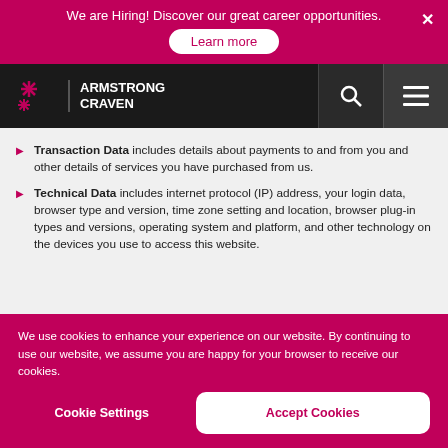We are Hiring! Discover our great career opportunities.
[Figure (logo): Armstrong Craven logo with star/asterisk icon and company name in white on black navigation bar]
Transaction Data includes details about payments to and from you and other details of services you have purchased from us.
Technical Data includes internet protocol (IP) address, your login data, browser type and version, time zone setting and location, browser plug-in types and versions, operating system and platform, and other technology on the devices you use to access this website.
Profile Data includes your username and password, your use of our services, your interests, preferences, feedback and survey responses.
Usage Data includes information about how you use our website and
We use cookies to enhance your experience on our website. By continuing to use our website, we assume you are happy for your browser to receive our cookies.